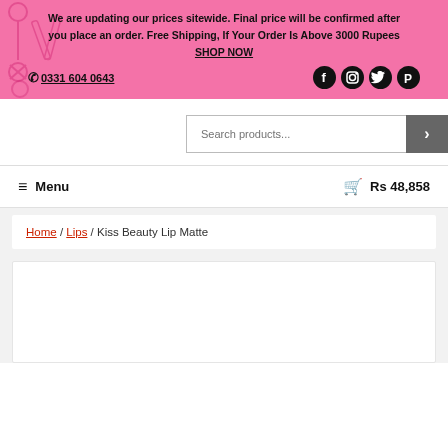We are updating our prices sitewide. Final price will be confirmed after you place an order. Free Shipping, If Your Order Is Above 3000 Rupees SHOP NOW
✆ 0331 604 0643
[Figure (screenshot): Search bar with placeholder text 'Search products...' and a grey search button with right arrow]
≡ Menu    🛒 Rs 48,858
Home / Lips / Kiss Beauty Lip Matte
[Figure (photo): White product card area, empty/blank at bottom of page]